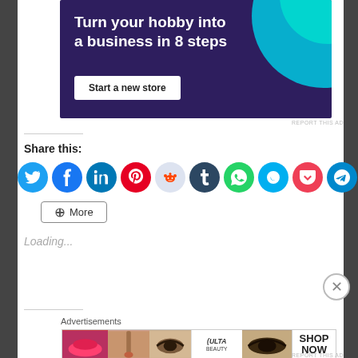[Figure (screenshot): Advertisement banner with dark purple background. Text reads 'Turn your hobby into a business in 8 steps' with a 'Start a new store' button. Teal decorative circle in top right.]
REPORT THIS AD
Share this:
[Figure (infographic): Row of social media share icons: Twitter (blue), Facebook (dark blue), LinkedIn (blue), Pinterest (red), Reddit (light gray-blue), Tumblr (dark navy), WhatsApp (green), Skype (light blue), Pocket (red), Telegram (blue)]
[Figure (other): More button with share icon]
Loading...
Advertisements
[Figure (screenshot): ULTA Beauty advertisement banner showing makeup/beauty imagery with 'SHOP NOW' text]
REPORT THIS AD